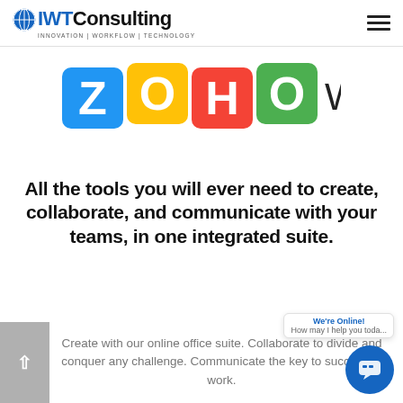IWT Consulting — INNOVATION | WORKFLOW | TECHNOLOGY
[Figure (logo): Zoho Workplace logo with colorful block letters Z, O, H, O and 'Workplace' text]
All the tools you will ever need to create, collaborate, and communicate with your teams, in one integrated suite.
Create with our online office suite. Collaborate to divide and conquer any challenge. Communicate the key to success at work.